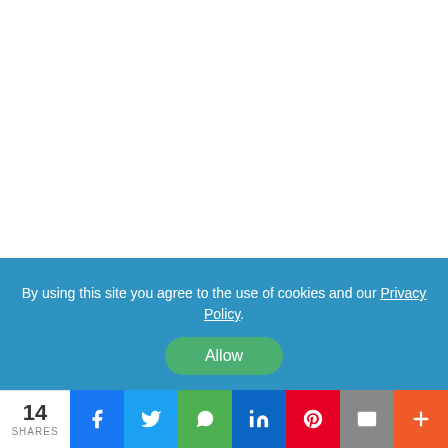By using this site you agree to the use of cookies and our Privacy Policy.
Allow
14 SHARES